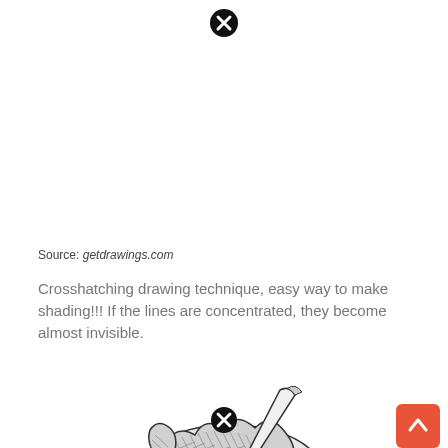[Figure (illustration): Black circle with white X close button icon at top center of page]
Source: getdrawings.com
Crosshatching drawing technique, easy way to make shading!!! If the lines are concentrated, they become almost invisible.
[Figure (illustration): Hand holding a pencil, detailed crosshatching drawing illustration in black and white]
[Figure (illustration): Black circle with white X close button icon at bottom center of illustration]
[Figure (illustration): Orange/red square button with white upward arrow (scroll to top button) at bottom right]